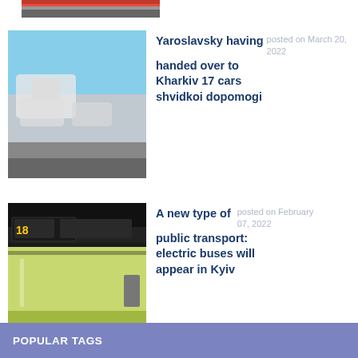[Figure (photo): Partial top image, cropped, showing what appears to be a red and gray striped element]
[Figure (photo): A convoy of white ambulance/emergency vehicles on a road under bright sunlight]
Yaroslavsky having handed over to Kharkiv 17 cars shvidkoi dopomogi
posted on March 20, 2022
[Figure (photo): A yellow-green electric bus with route number 18 displayed on its front, at a transit stop]
A new type of public transport: electric buses will appear in Kyiv
posted on February 07, 2022
POPULAR TAGS